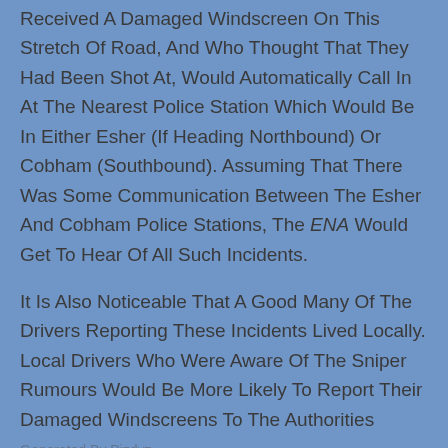Received A Damaged Windscreen On This Stretch Of Road, And Who Thought That They Had Been Shot At, Would Automatically Call In At The Nearest Police Station Which Would Be In Either Esher (If Heading Northbound) Or Cobham (Southbound). Assuming That There Was Some Communication Between The Esher And Cobham Police Stations, The ENA Would Get To Hear Of All Such Incidents.

It Is Also Noticeable That A Good Many Of The Drivers Reporting These Incidents Lived Locally. Local Drivers Who Were Aware Of The Sniper Rumours Would Be More Likely To Report Their Damaged Windscreens To The Authorities.